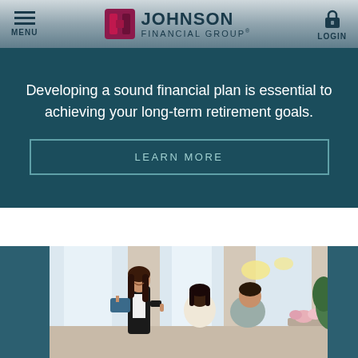MENU | JOHNSON FINANCIAL GROUP® | LOGIN
Developing a sound financial plan is essential to achieving your long-term retirement goals.
LEARN MORE
[Figure (photo): A female financial advisor standing and presenting to a couple seated with their backs to the camera, in a bright office with large windows. There is a plant and flowers on a table to the right.]